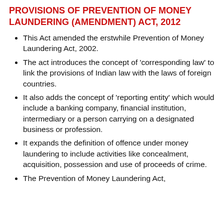PROVISIONS OF PREVENTION OF MONEY LAUNDERING (AMENDMENT) ACT, 2012
This Act amended the erstwhile Prevention of Money Laundering Act, 2002.
The act introduces the concept of 'corresponding law' to link the provisions of Indian law with the laws of foreign countries.
It also adds the concept of 'reporting entity' which would include a banking company, financial institution, intermediary or a person carrying on a designated business or profession.
It expands the definition of offence under money laundering to include activities like concealment, acquisition, possession and use of proceeds of crime.
The Prevention of Money Laundering Act,